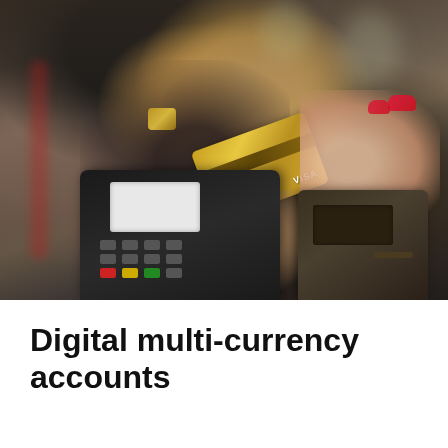[Figure (photo): Photo of two hands exchanging a gold Visa credit card over a point-of-sale card payment terminal. One hand wearing a black glove and gold bracelet holds the card; another hand with red nail polish receives it. A POS terminal with keypad and screen is visible below, and a second terminal/printer is visible on the right.]
Digital multi-currency accounts